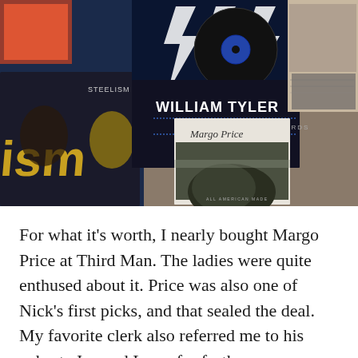[Figure (photo): A photograph of multiple vinyl record album covers spread on a surface, including William Tyler Live at Third Man Records, Steelism (ism), Margo Price (All American Made), and other records.]
For what it's worth, I nearly bought Margo Price at Third Man. The ladies were quite enthused about it. Price was also one of Nick's first picks, and that sealed the deal. My favorite clerk also referred me to his cohorts Joe and Larry for further consultation.